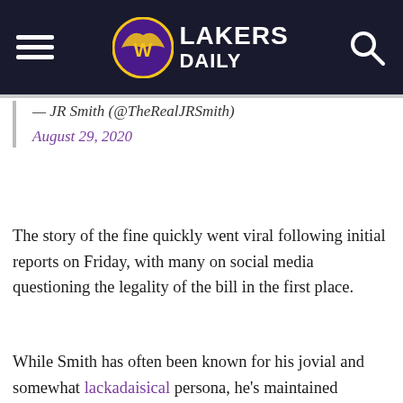Lakers Daily
— JR Smith (@TheRealJRSmith)
August 29, 2020
The story of the fine quickly went viral following initial reports on Friday, with many on social media questioning the legality of the bill in the first place.
While Smith has often been known for his jovial and somewhat lackadaisical persona, he's maintained appropriate seriousness throughout the recent social upheaval.